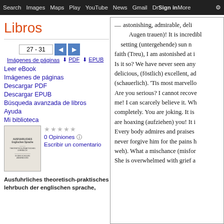Search  Images  Maps  Play  YouTube  News  Gmail  Drive  More  Sign in
Libros
27 - 31
Imágenes de páginas  ⬇ PDF  ⬇ EPUB
Leer eBook
Imágenes de páginas
Descargar PDF
Descargar EPUB
Búsqueda avanzada de libros
Ayuda
Mi biblioteca
[Figure (photo): Book cover thumbnail for Ausfuhrliches theoretisch-praktisches lehrbuch der englischen sprache]
0 Opiniones
Escribir un comentario
Ausfuhrliches theoretisch-praktisches lehrbuch der englischen sprache,
astonishing, admirable, deli
Augen trauen)! It is incredibl
setting (untergehende) sun n
faith (Treu), I am astonished at i
Is it so? We have never seen any
delicious, (föstlich) excellent, ad
(schauerlich). 'Tis most marvello
Are you serious? I cannot recove
me! I can scarcely believe it. Wh
completely. You are joking. It is
are hoaxing (aufziehen) you! It i
Every body admires and praises
never forgive him for the pains h
weh). What a mischance (misfor
She is overwhelmed with grief a